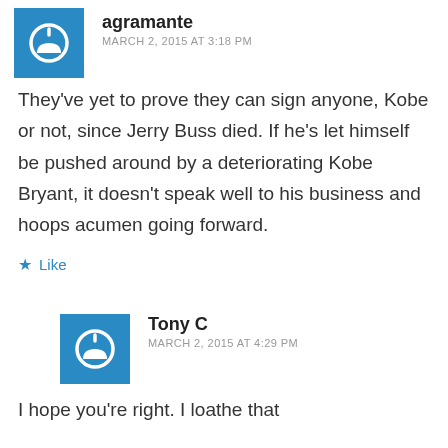agramante
MARCH 2, 2015 AT 3:18 PM
They've yet to prove they can sign anyone, Kobe or not, since Jerry Buss died. If he's let himself be pushed around by a deteriorating Kobe Bryant, it doesn't speak well to his business and hoops acumen going forward.
★ Like
Tony C
MARCH 2, 2015 AT 4:29 PM
I hope you're right. I loathe that